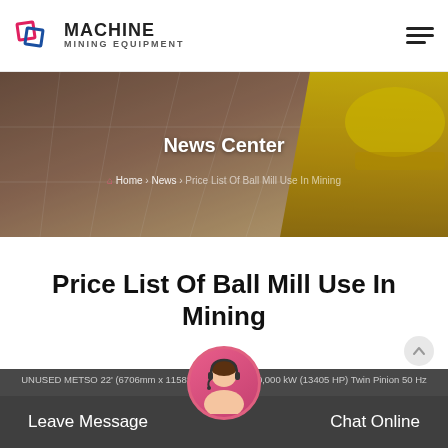MACHINE MINING EQUIPMENT
[Figure (photo): Hero banner with tile floor background and yellow hard hat on right side, overlaid with text 'News Center' and breadcrumb navigation]
Price List Of Ball Mill Use In Mining
UNUSED METSO 22' (6706mm x 11582mm) Ball Mill, 10,000 kW (13405 HP) Twin Pinion 50 Hz Motors and
Leave Message   Chat Online